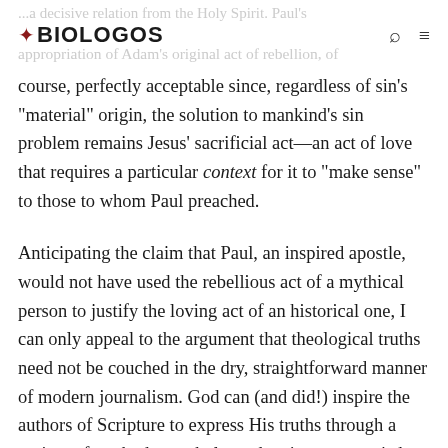BioLogos
course, perfectly acceptable since, regardless of sin's "material" origin, the solution to mankind's sin problem remains Jesus' sacrificial act—an act of love that requires a particular context for it to "make sense" to those to whom Paul preached.
Anticipating the claim that Paul, an inspired apostle, would not have used the rebellious act of a mythical person to justify the loving act of an historical one, I can only appeal to the argument that theological truths need not be couched in the dry, straightforward manner of modern journalism. God can (and did!) inspire the authors of Scripture to express His truths through a variety of methods: myth, legend, epic, poetry, wisdom literature,